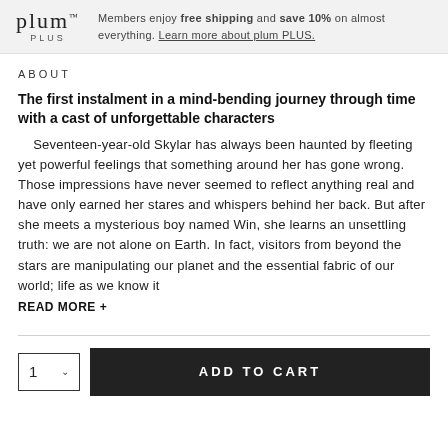Members enjoy free shipping and save 10% on almost everything. Learn more about plum PLUS.
ABOUT
The first instalment in a mind-bending journey through time with a cast of unforgettable characters
Seventeen-year-old Skylar has always been haunted by fleeting yet powerful feelings that something around her has gone wrong. Those impressions have never seemed to reflect anything real and have only earned her stares and whispers behind her back. But after she meets a mysterious boy named Win, she learns an unsettling truth: we are not alone on Earth. In fact, visitors from beyond the stars are manipulating our planet and the essential fabric of our world; life as we know it
READ MORE +